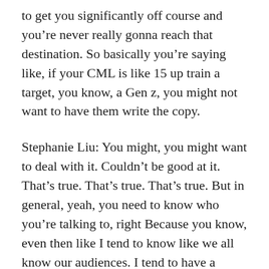to get you significantly off course and you’re never really gonna reach that destination. So basically you’re saying like, if your CML is like 15 up train a target, you know, a Gen z, you might not want to have them write the copy.
Stephanie Liu: You might, you might want to deal with it. Couldn’t be good at it. That’s true. That’s true. That’s true. But in general, yeah, you need to know who you’re talking to, right Because you know, even then like I tend to know like we all know our audiences. I tend to have a target audience of on average a 45 year old woman who is a mom who is running her own business. It may be a small business, she may have a team, she may be an entrepreneur.